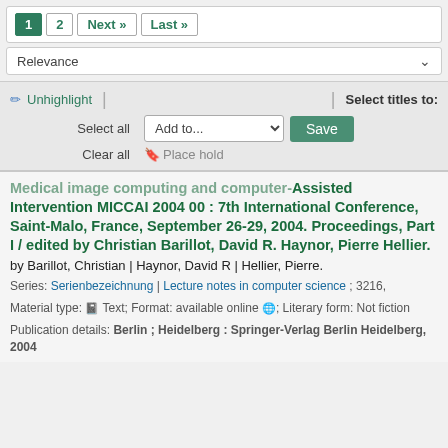1  2  Next »  Last »
Relevance
✏ Unhighlight  |  |  Select titles to:
Select all  Add to...  Save
Clear all  ⛶ Place hold
Medical image computing and computer-Assisted Intervention MICCAI 2004 00 : 7th International Conference, Saint-Malo, France, September 26-29, 2004. Proceedings, Part I / edited by Christian Barillot, David R. Haynor, Pierre Hellier.
by Barillot, Christian | Haynor, David R | Hellier, Pierre.
Series: Serienbezeichnung | Lecture notes in computer science ; 3216,
Material type: Text; Format: available online ; Literary form: Not fiction
Publication details: Berlin ; Heidelberg : Springer-Verlag Berlin Heidelberg, 2004